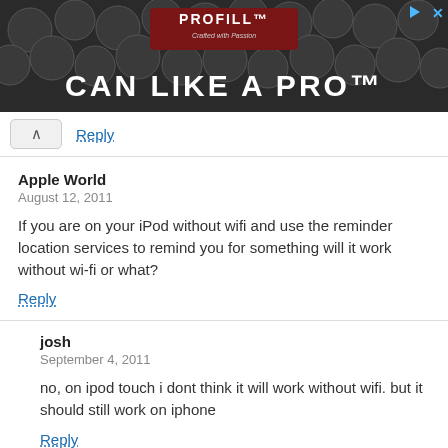[Figure (photo): Advertisement banner with dark background showing beer kegs, PROFILL brand badge, and text 'CAN LIKE A PRO']
Reply
Apple World
August 12, 2011
If you are on your iPod without wifi and use the reminder location services to remind you for something will it work without wi-fi or what?
Reply
josh
September 4, 2011
no, on ipod touch i dont think it will work without wifi. but it should still work on iphone
Reply
Shamz